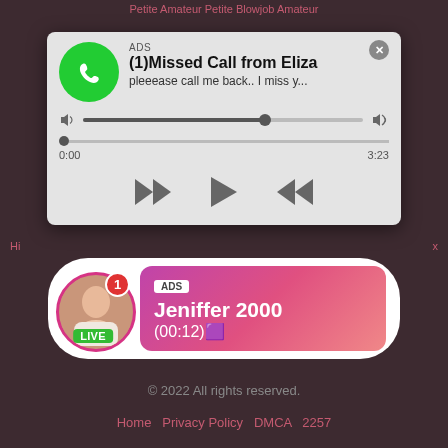Petite Amateur Petite Blowjob Amateur
[Figure (screenshot): Audio ad popup showing a WhatsApp-style missed call notification from Eliza with audio player controls, titled ADS, (1)Missed Call from Eliza, pleeease call me back.. I miss y..., with progress bar, volume, and playback controls, timestamp 3:23]
[Figure (screenshot): Live cam ad banner with circular avatar photo of woman with LIVE badge and notification badge showing 1, pink gradient box with ADS label, name Jeniffer 2000, time (00:12)]
Porn Videos   Housewives   Housewives Index   Cim   Cim Index   Free Porns   Free Porns Index   Porn Hub   Porn Hub Index
© 2022 All rights reserved.
Home   Privacy Policy   DMCA   2257